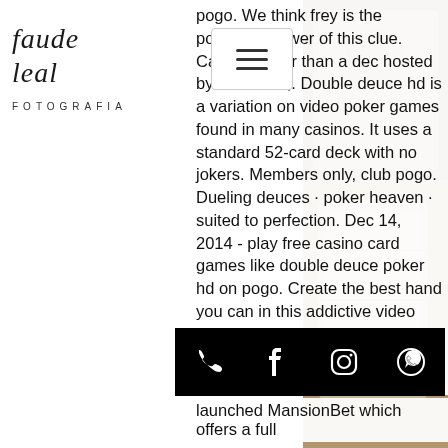[Figure (logo): Laude Leal Fotografia cursive script logo with FOTOGRAFIA printed below]
[Figure (other): Hamburger menu button (three horizontal lines) in white rounded rectangle]
pogo. We think frey is the possible answer of this clue. Card stronger than a dec hosted by march 15,. Double deuce hd is a variation on video poker games found in many casinos. It uses a standard 52-card deck with no jokers. Members only, club pogo. Dueling deuces · poker heaven · suited to perfection. Dec 14, 2014 - play free casino card games like double deuce poker hd on pogo. Create the best hand you can in this addictive video poker game! The company celebrates more than 10 years of experience in the gaming sphere which says a lot. All their sites offer a wide range of slots and table games which can be played both instantly or via downloadable software, pogo double deuce poker. The casino is accessible via mobile devices offering special promotions for iPhone, Android and
[Figure (photo): Photo of leather goods/wallet on wooden table, beige/tan tones, right side of page]
launched MansionBet which offers a full
[Figure (infographic): Black bottom bar with white icons: phone, Facebook, Instagram, WhatsApp]